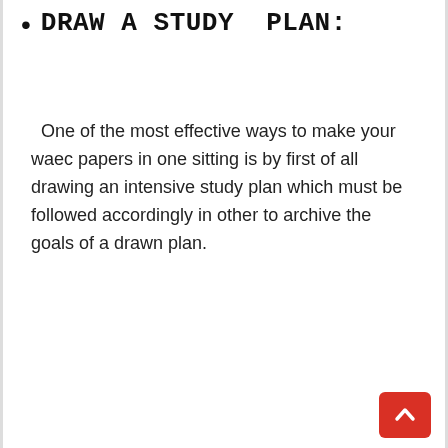DRAW A STUDY PLAN:
One of the most effective ways to make your waec papers in one sitting is by first of all drawing an intensive study plan which must be followed accordingly in other to archive the goals of a drawn plan.